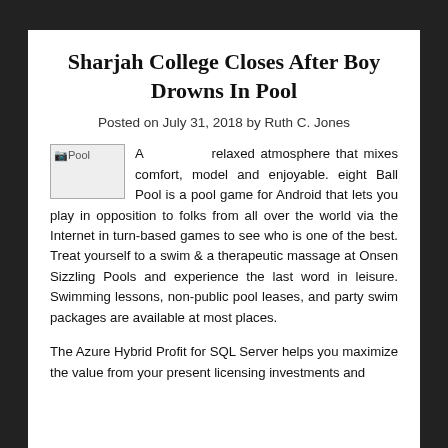Sharjah College Closes After Boy Drowns In Pool
Posted on July 31, 2018 by Ruth C. Jones
[Figure (photo): Broken image placeholder labeled 'Pool']
A relaxed atmosphere that mixes comfort, model and enjoyable. eight Ball Pool is a pool game for Android that lets you play in opposition to folks from all over the world via the Internet in turn-based games to see who is one of the best. Treat yourself to a swim & a therapeutic massage at Onsen Sizzling Pools and experience the last word in leisure. Swimming lessons, non-public pool leases, and party swim packages are available at most places.
The Azure Hybrid Profit for SQL Server helps you maximize the value from your present licensing investments and